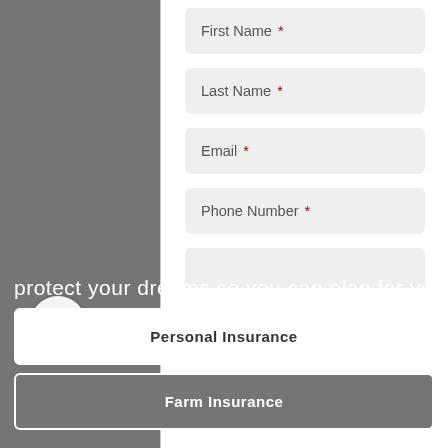First Name *
Last Name *
Email *
Phone Number *
protect your dreams so you can plan for your fu
Personal Insurance
Farm Insurance